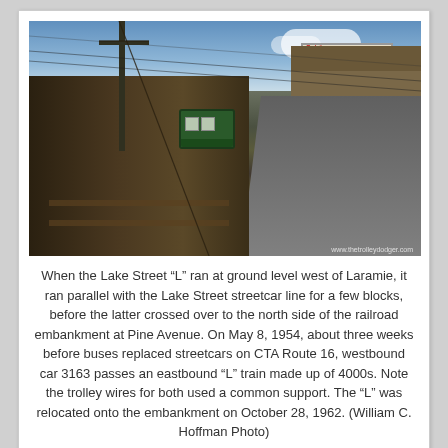[Figure (photo): Historical photograph showing the Lake Street 'L' running at ground level west of Laramie, parallel with the Lake Street streetcar line. A westbound streetcar (car 3163) passes an eastbound 'L' train on May 8, 1954. Wooden fence separates the rail corridor from the road. Utility poles with trolley wires visible. Buildings and a billboard on the right side. Photo credit: www.thetrolleydodger.com]
When the Lake Street “L” ran at ground level west of Laramie, it ran parallel with the Lake Street streetcar line for a few blocks, before the latter crossed over to the north side of the railroad embankment at Pine Avenue. On May 8, 1954, about three weeks before buses replaced streetcars on CTA Route 16, westbound car 3163 passes an eastbound “L” train made up of 4000s. Note the trolley wires for both used a common support. The “L” was relocated onto the embankment on October 28, 1962. (William C. Hoffman Photo)